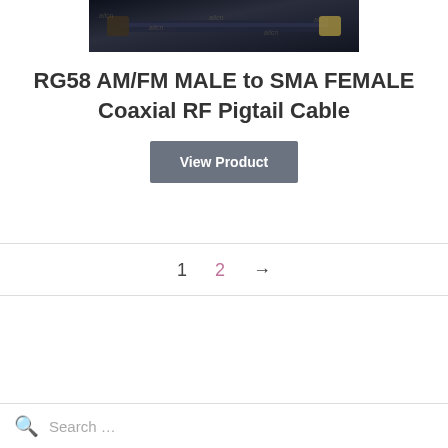[Figure (photo): Product photo of RG58 AM/FM MALE to SMA FEMALE Coaxial RF Pigtail Cable, showing a dark cable with connectors, with watermark text overlay.]
RG58 AM/FM MALE to SMA FEMALE Coaxial RF Pigtail Cable
View Product
1  2  →